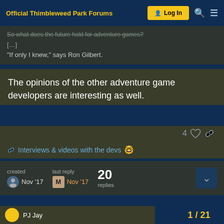Official Thimbleweed Park Forums
So what does the future hold for adventure games? [...] “If only I knew,” says Ron Gilbert.
The opinions of the other adventure game developers are interesting as well.
4 ♡ 🔗
🔗 Interviews & videos with the devs 🤓
created Nov '17 | last reply Nov '17 | 20 replies
1 / 21
PJ Jay